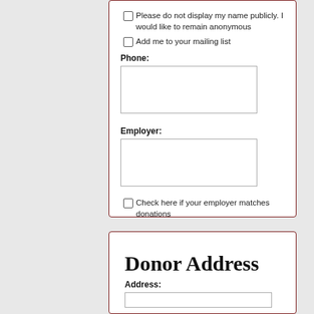Please do not display my name publicly. I would like to remain anonymous
Add me to your mailing list
Phone:
Employer:
Check here if your employer matches donations
Donor Address
Address: